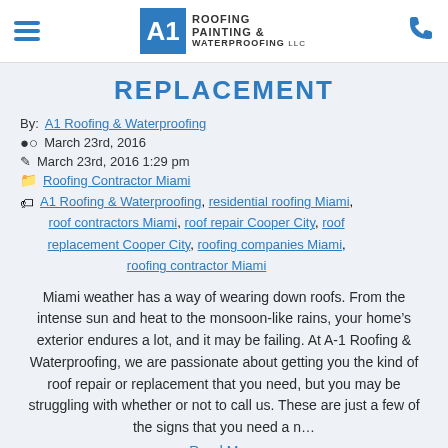A1 Roofing Painting & Waterproofing LLC
REPLACEMENT
By: A1 Roofing & Waterproofing
March 23rd, 2016
March 23rd, 2016 1:29 pm
Roofing Contractor Miami
A1 Roofing & Waterproofing, residential roofing Miami, roof contractors Miami, roof repair Cooper City, roof replacement Cooper City, roofing companies Miami, roofing contractor Miami
Miami weather has a way of wearing down roofs. From the intense sun and heat to the monsoon-like rains, your home’s exterior endures a lot, and it may be failing. At A-1 Roofing & Waterproofing, we are passionate about getting you the kind of roof repair or replacement that you need, but you may be struggling with whether or not to call us. These are just a few of the signs that you need a n…
Read More